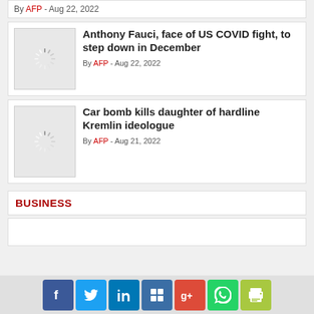By AFP - Aug 22, 2022
Anthony Fauci, face of US COVID fight, to step down in December
By AFP - Aug 22, 2022
Car bomb kills daughter of hardline Kremlin ideologue
By AFP - Aug 21, 2022
BUSINESS
Social share bar: Facebook, Twitter, LinkedIn, Delicious, Google+, WhatsApp, Print